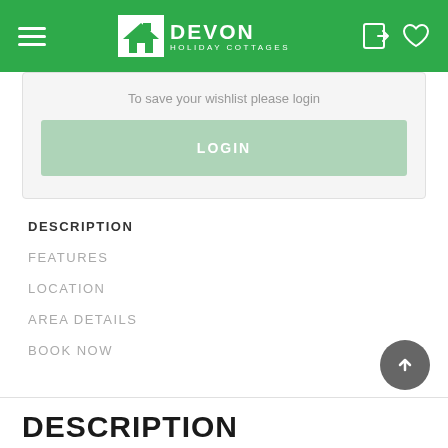DEVON HOLIDAY COTTAGES
To save your wishlist please login
LOGIN
DESCRIPTION
FEATURES
LOCATION
AREA DETAILS
BOOK NOW
DESCRIPTION